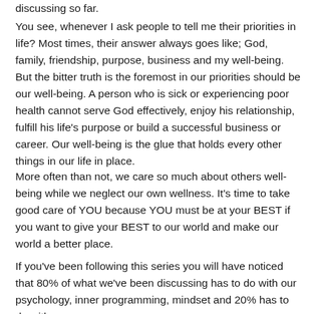discussing so far.
You see, whenever I ask people to tell me their priorities in life? Most times, their answer always goes like; God, family, friendship, purpose, business and my well-being. But the bitter truth is the foremost in our priorities should be our well-being. A person who is sick or experiencing poor health cannot serve God effectively, enjoy his relationship, fulfill his life's purpose or build a successful business or career. Our well-being is the glue that holds every other things in our life in place.
More often than not, we care so much about others well-being while we neglect our own wellness. It's time to take good care of YOU because YOU must be at your BEST if you want to give your BEST to our world and make our world a better place.
If you've been following this series you will have noticed that 80% of what we've been discussing has to do with our psychology, inner programming, mindset and 20% has to do with